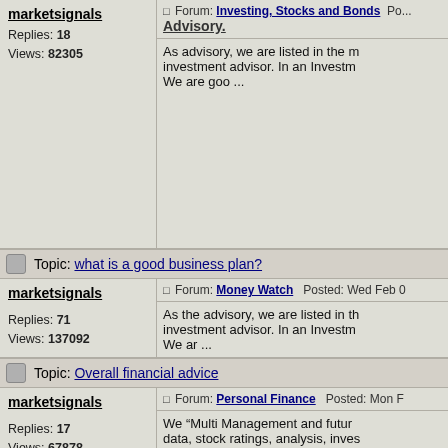| marketsignals | Forum: Investing, Stocks and Bonds  Posted: ... Advisory. | Replies: 18
Views: 82305 | As advisory, we are listed in the m... investment advisor. In an Investm... We are goo ... |
| Topic: what is a good business plan? |  |  |  |
| marketsignals | Forum: Money Watch  Posted: Wed Feb 0... | Replies: 71
Views: 137092 | As the advisory, we are listed in th... investment advisor. In an Investm... We ar ... |
| Topic: Overall financial advice |  |  |  |
| marketsignals | Forum: Personal Finance  Posted: Mon F... | Replies: 17
Views: 67878 | We "Multi Management and futur... data, stock ratings, analysis, inves... ... |
| Topic: Overall financial advice |  |  |  |
| marketsignals | Forum: Personal Finance  Posted: Wed J... | Replies: 17
Views: 67878 | Bursa Malaysia was listed on the... Provide, operate and maintain sec... economy, it's a fourth larg... |